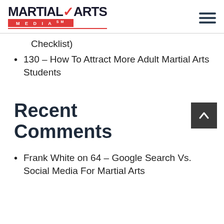[Figure (logo): Martial Arts Media logo with red accent and MEDIA bar]
Checklist)
130 – How To Attract More Adult Martial Arts Students
Recent Comments
Frank White on 64 – Google Search Vs. Social Media For Martial Arts...